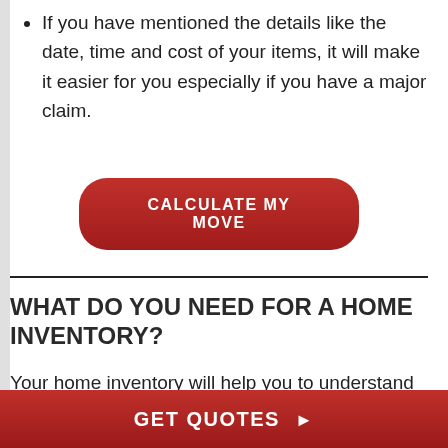If you have mentioned the details like the date, time and cost of your items, it will make it easier for you especially if you have a major claim.
[Figure (other): Red rounded rectangle button with white uppercase text 'CALCULATE MY MOVE']
WHAT DO YOU NEED FOR A HOME INVENTORY?
Your home inventory will help you to understand whether all your items have
GET QUOTES ▶